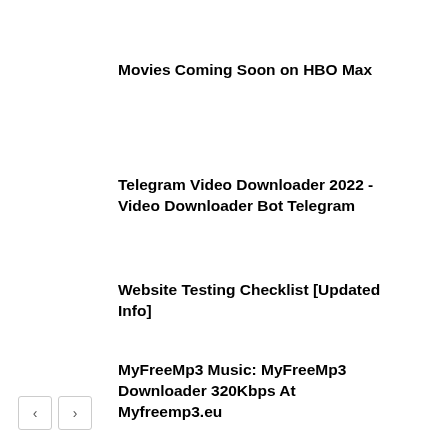Movies Coming Soon on HBO Max
Telegram Video Downloader 2022 - Video Downloader Bot Telegram
Website Testing Checklist [Updated Info]
MyFreeMp3 Music: MyFreeMp3 Downloader 320Kbps At Myfreemp3.eu